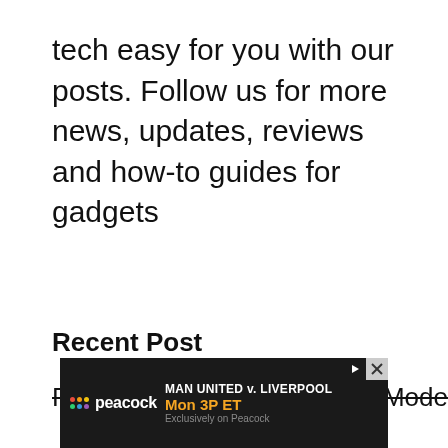tech easy for you with our posts. Follow us for more news, updates, reviews and how-to guides for gadgets
Recent Post
Fix Echo Dot Stuck in Setup Mode
[Figure (other): Peacock advertisement banner: MAN UNITED v. LIVERPOOL Mon 3P ET Exclusively on Peacock]